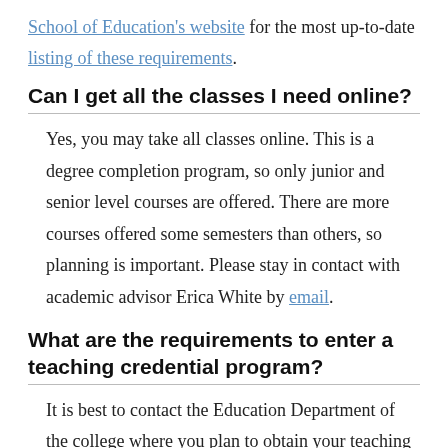School of Education's website for the most up-to-date listing of these requirements.
Can I get all the classes I need online?
Yes, you may take all classes online. This is a degree completion program, so only junior and senior level courses are offered. There are more courses offered some semesters than others, so planning is important. Please stay in contact with academic advisor Erica White by email.
What are the requirements to enter a teaching credential program?
It is best to contact the Education Department of the college where you plan to obtain your teaching